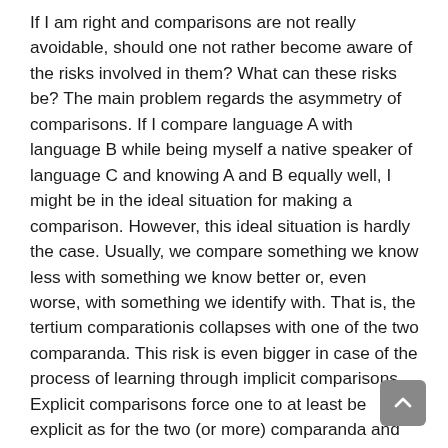If I am right and comparisons are not really avoidable, should one not rather become aware of the risks involved in them? What can these risks be? The main problem regards the asymmetry of comparisons. If I compare language A with language B while being myself a native speaker of language C and knowing A and B equally well, I might be in the ideal situation for making a comparison. However, this ideal situation is hardly the case. Usually, we compare something we know less with something we know better or, even worse, with something we identify with. That is, the tertium comparationis collapses with one of the two comparanda. This risk is even bigger in case of the process of learning through implicit comparisons. Explicit comparisons force one to at least be explicit as for the two (or more) comparanda and the tertium comparationis.